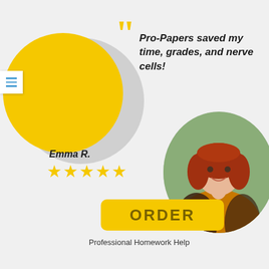[Figure (illustration): Decorative gray and yellow overlapping circles forming a crescent shape on the left side, with large yellow quotation marks above]
Pro-Papers saved my time, grades, and nerve cells!
[Figure (photo): Circular portrait photo of a young woman with red/auburn hair wearing a yellow top and dark floral cardigan, smiling, outdoors with trees in background]
Emma R.
★★★★★
ORDER
Professional Homework Help